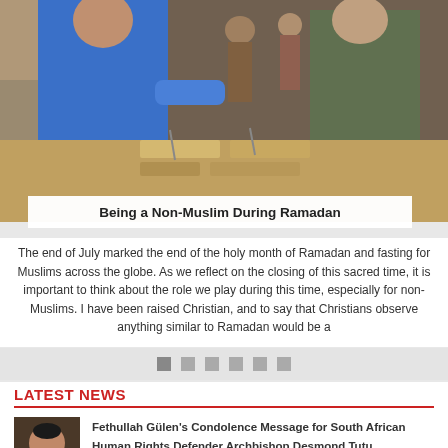[Figure (photo): Photo of people serving food at a buffet table, person in blue outfit on left, person in green/olive on right, food trays visible]
Being a Non-Muslim During Ramadan
The end of July marked the end of the holy month of Ramadan and fasting for Muslims across the globe. As we reflect on the closing of this sacred time, it is important to think about the role we play during this time, especially for non-Muslims. I have been raised Christian, and to say that Christians observe anything similar to Ramadan would be a
LATEST NEWS
Fethullah Gülen's Condolence Message for South African Human Rights Defender Archbishop Desmond Tutu
Hizmet Movement Declares Core Values with Unified